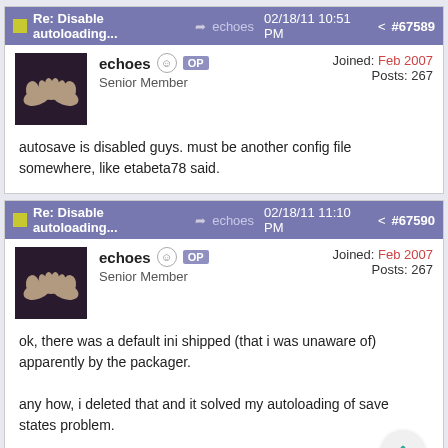Re: Disable autoloading... echoes 02/18/11 10:51 PM #67589
echoes OP
Senior Member
Joined: Feb 2007
Posts: 267
autosave is disabled guys. must be another config file somewhere, like etabeta78 said.
Re: Disable autoloading... echoes 02/18/11 11:10 PM #67590
echoes OP
Senior Member
Joined: Feb 2007
Posts: 267
ok, there was a default ini shipped (that i was unaware of) apparently by the packager.

any how, i deleted that and it solved my autoloading of save states problem.

now, if i could only solve my cheats problem...